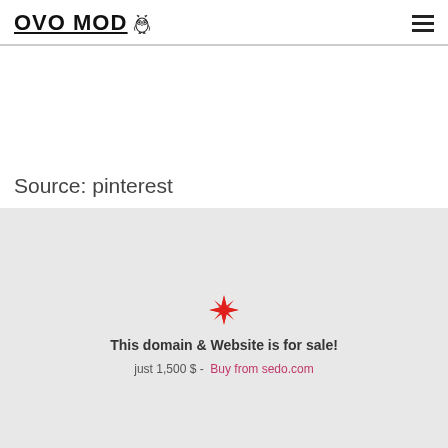OVO MOD (with owl icon) [hamburger menu]
Source: pinterest
This domain & Website is for sale!
just 1,500 $ -  Buy from sedo.com